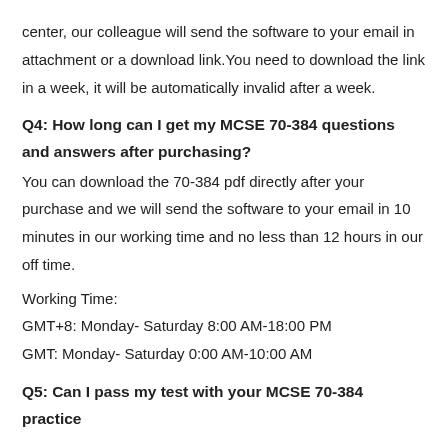center, our colleague will send the software to your email in attachment or a download link.You need to download the link in a week, it will be automatically invalid after a week.
Q4: How long can I get my MCSE 70-384 questions and answers after purchasing?
You can download the 70-384 pdf directly after your purchase and we will send the software to your email in 10 minutes in our working time and no less than 12 hours in our off time.
Working Time:
GMT+8: Monday- Saturday 8:00 AM-18:00 PM
GMT: Monday- Saturday 0:00 AM-10:00 AM
Q5: Can I pass my test with your MCSE 70-384 practice